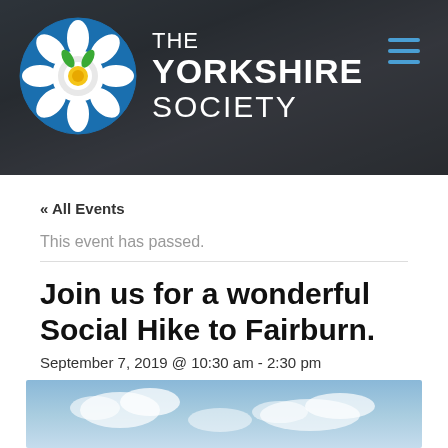[Figure (photo): The Yorkshire Society header banner with crowd background, circular white flower logo on blue background, and organization name in white text]
« All Events
This event has passed.
Join us for a wonderful Social Hike to Fairburn.
September 7, 2019 @ 10:30 am - 2:30 pm
FREE
[Figure (photo): Landscape photo showing blue sky with white clouds, partially visible at bottom of page]